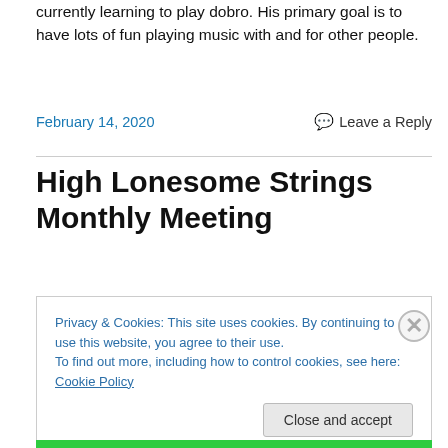currently learning to play dobro. His primary goal is to have lots of fun playing music with and for other people.
February 14, 2020    Leave a Reply
High Lonesome Strings Monthly Meeting
Privacy & Cookies: This site uses cookies. By continuing to use this website, you agree to their use.
To find out more, including how to control cookies, see here: Cookie Policy
Close and accept